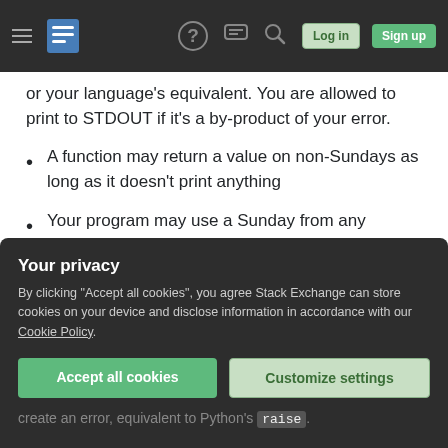Stack Exchange navigation bar with hamburger menu, logo, help, chat, search, Log in and Sign up buttons
or your language's equivalent. You are allowed to print to STDOUT if it's a by-product of your error.
A function may return a value on non-Sundays as long as it doesn't print anything
Your program may use a Sunday from any timezone, or the local timezone, as long as it is consistent.
An error is a something that makes the program terminate abnormally, such as a divide by
Your privacy
By clicking "Accept all cookies", you agree Stack Exchange can store cookies on your device and disclose information in accordance with our Cookie Policy.
Accept all cookies
Customize settings
create an error, equivalent to Python's raise.